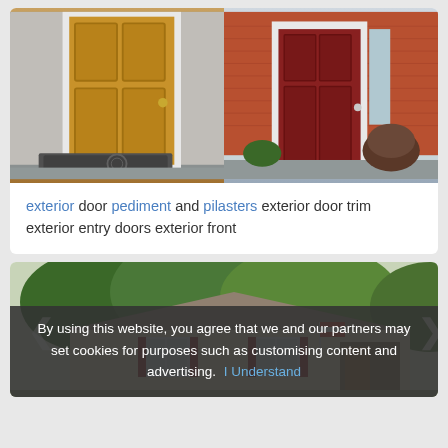[Figure (photo): Two side-by-side photos of exterior doors. Left: wooden front door with white frame and doormat. Right: red door with white trim on brick house with shrubs.]
exterior door pediment and pilasters exterior door trim exterior entry doors exterior front
[Figure (photo): Photo of a ranch-style house with beige siding, red shutters, and trees overhead, with navigation arrows on left and right. Cookie consent overlay at bottom reading: By using this website, you agree that we and our partners may set cookies for purposes such as customising content and advertising. I Understand]